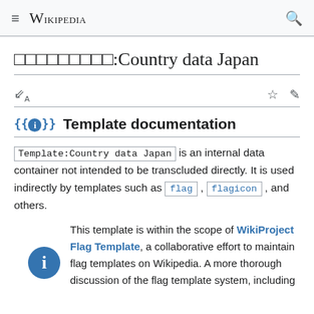≡  WIKIPEDIA  🔍
□□□□□□□□□:Country data Japan
{{ℹ}} Template documentation
Template:Country data Japan is an internal data container not intended to be transcluded directly. It is used indirectly by templates such as flag, flagicon, and others.
This template is within the scope of WikiProject Flag Template, a collaborative effort to maintain flag templates on Wikipedia. A more thorough discussion of the flag template system, including